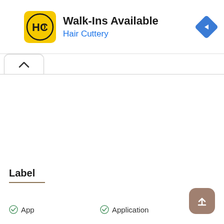[Figure (screenshot): Mobile app advertisement banner for Hair Cuttery showing logo, 'Walk-Ins Available' text, and navigation arrow icon]
Walk-Ins Available
Hair Cuttery
Label
App
Application